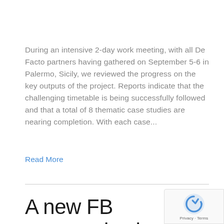During an intensive 2-day work meeting, with all De Facto partners having gathered on September 5-6 in Palermo, Sicily, we reviewed the progress on the key outputs of the project. Reports indicate that the challenging timetable is being successfully followed and that a total of 8 thematic case studies are nearing completion. With each case...
Read More
A new FB communication channel